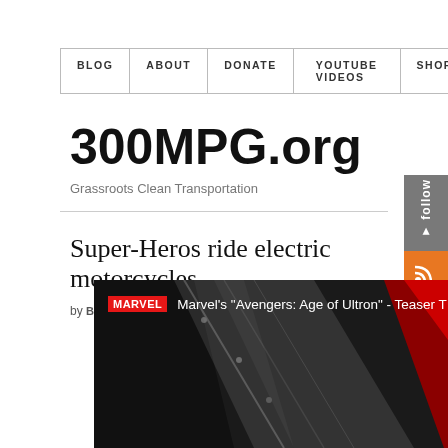BLOG | ABOUT | DONATE | YOUTUBE VIDEOS | SHOP
300MPG.org
Grassroots Clean Transportation
Super-Heros ride electric motorcycles
by BEN N on OCTOBER 23, 2014
[Figure (screenshot): Marvel Avengers Age of Ultron Teaser Trailer video thumbnail showing Iron Man armor in dark metallic tones with Marvel logo and title overlay]